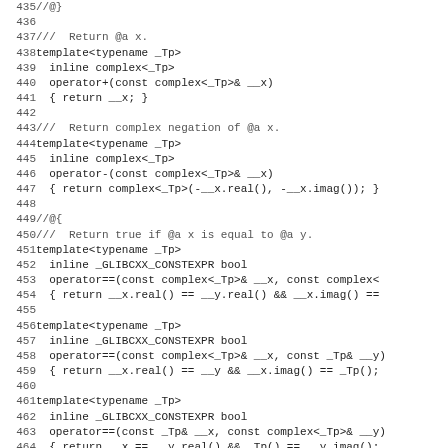Source code listing lines 435-466, C++ complex number operators